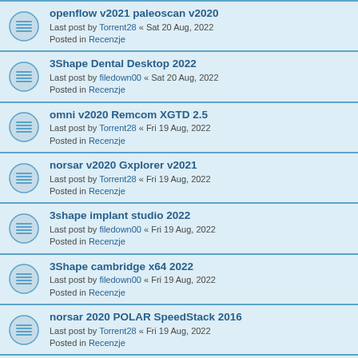openflow v2021 paleoscan v2020
Last post by Torrent28 « Sat 20 Aug, 2022
Posted in Recenzje
3Shape Dental Desktop 2022
Last post by filedown00 « Sat 20 Aug, 2022
Posted in Recenzje
omni v2020 Remcom XGTD 2.5
Last post by Torrent28 « Fri 19 Aug, 2022
Posted in Recenzje
norsar v2020 Gxplorer v2021
Last post by Torrent28 « Fri 19 Aug, 2022
Posted in Recenzje
3shape implant studio 2022
Last post by filedown00 « Fri 19 Aug, 2022
Posted in Recenzje
3Shape cambridge x64 2022
Last post by filedown00 « Fri 19 Aug, 2022
Posted in Recenzje
norsar 2020 POLAR SpeedStack 2016
Last post by Torrent28 « Fri 19 Aug, 2022
Posted in Recenzje
3Shape Dental System 2022
Last post by filedown00 « Fri 19 Aug, 2022
Posted in Recenzje
midas xd v5.0